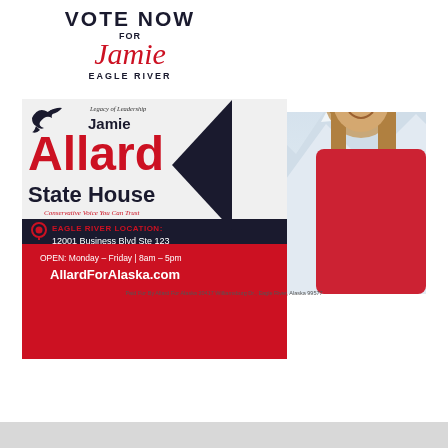[Figure (illustration): Political campaign advertisement for Jamie Allard running for Alaska State House from Eagle River. Features a photo of a smiling woman with long brown hair wearing a red top, with mountain/snow background. Contains campaign text, location details, and website.]
VOTE NOW FOR Jamie EAGLE RIVER
Legacy of Leadership
Jamie Allard State House
Conservative Voice You Can Trust
EAGLE RIVER LOCATION: 12001 Business Blvd Ste 123
OPEN: Monday – Friday | 8am – 5pm
AllardForAlaska.com
Paid For By Allard For Alaska 20417 Williamsburg Dr., Eagle River, Alaska 99577